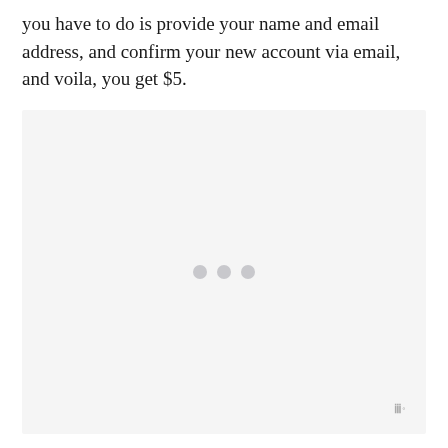you have to do is provide your name and email address, and confirm your new account via email, and voila, you get $5.
[Figure (other): Loading placeholder with light gray background and three gray dots centered, with a small watermark logo in the bottom right corner.]